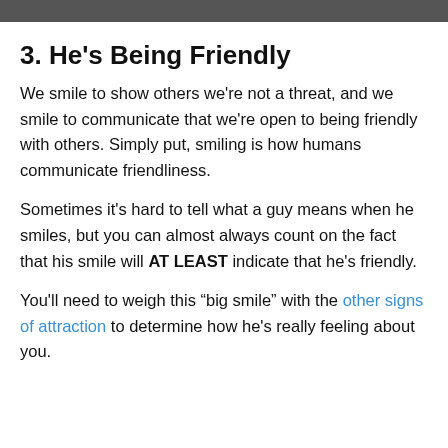[Figure (photo): Dark image strip at top of page]
3. He's Being Friendly
We smile to show others we're not a threat, and we smile to communicate that we're open to being friendly with others. Simply put, smiling is how humans communicate friendliness.
Sometimes it's hard to tell what a guy means when he smiles, but you can almost always count on the fact that his smile will AT LEAST indicate that he's friendly.
You'll need to weigh this “big smile” with the other signs of attraction to determine how he's really feeling about you.